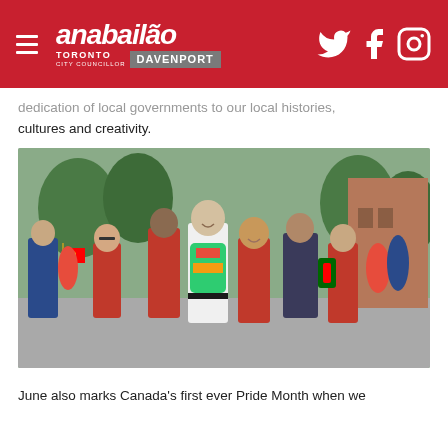Ana Bailão – Toronto City Councillor Davenport
dedication of local governments to our local histories, cultures and creativity.
[Figure (photo): Group of people walking in a street parade or festival; participants wearing red outfits and Portuguese-themed scarves and flags. The central figures appear to include politicians marching together with the public.]
June also marks Canada's first ever Pride Month when we